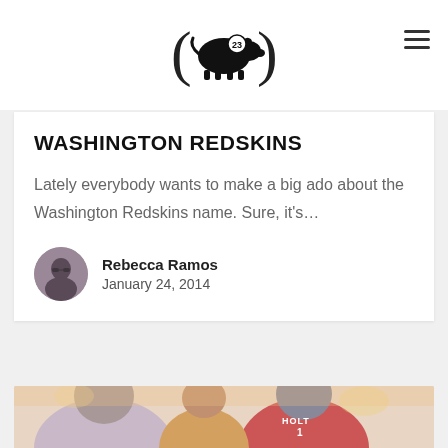Pig logo with number 23
WASHINGTON REDSKINS
Lately everybody wants to make a big ado about the Washington Redskins name. Sure, it's...
Rebecca Ramos
January 24, 2014
[Figure (illustration): Illustration of fans wearing sports jerseys watching a game at a bar, viewed from behind. One person wears a jersey with 'HOLT' and number 1.]